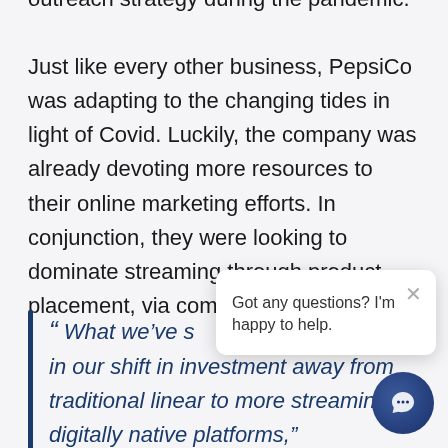outreach strategy during the pandemic. Just like every other business, PepsiCo was adapting to the changing tides in light of Covid. Luckily, the company was already devoting more resources to their online marketing efforts. In conjunction, they were looking to dominate streaming through product placement, via companies like M
“ What we’ve s in our shift in investment away from traditional linear to more streaming, digitally native platforms,”